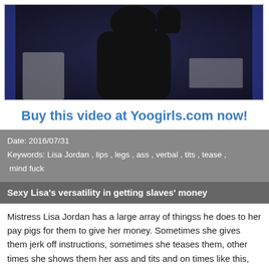[Figure (photo): Dark silhouette photo of a person in a room with blue lighting]
Buy this video at Yoogirls.com now!
Date: 2016/07/31
Keywords: Lisa Jordan , lips , legs , ass , verbal , tits , tease , mind fuck
Sexy Lisa's versatility in getting slaves' money
Mistress Lisa Jordan has a large array of thingss he does to her pay pigs for them to give her money. Sometimes she gives them jerk off instructions, sometimes she teases them, other times she shows them her ass and tits and on times like this, she humiliates